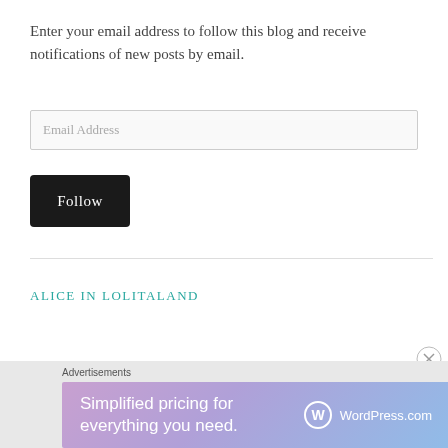Enter your email address to follow this blog and receive notifications of new posts by email.
Email Address
Follow
ALICE IN LOLITALAND
Advertisements
[Figure (infographic): WordPress.com advertisement banner with gradient purple-blue background showing 'Simplified pricing for everything you need.' with WordPress.com logo]